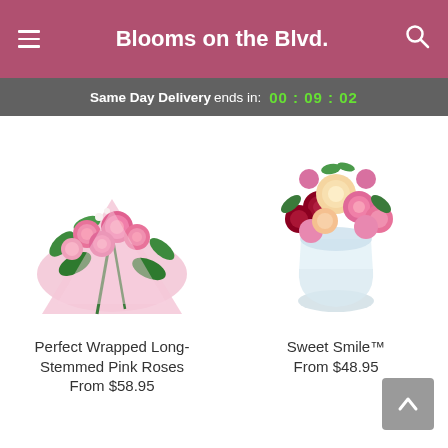Blooms on the Blvd.
Same Day Delivery ends in: 00 : 09 : 02
[Figure (photo): Pink roses bouquet wrapped in pink tissue paper with green foliage]
[Figure (photo): Mixed floral arrangement in a glass vase with roses, carnations, and greenery]
Perfect Wrapped Long-Stemmed Pink Roses
From $58.95
Sweet Smile™
From $48.95